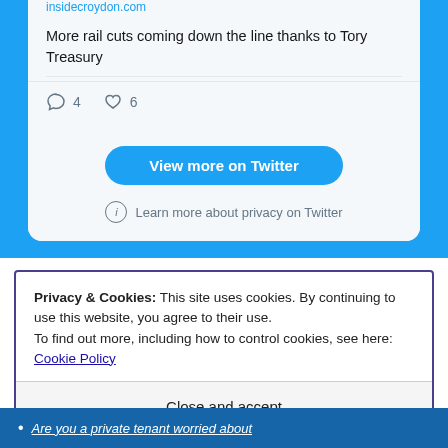insidecroydon.com
More rail cuts coming down the line thanks to Tory Treasury
4  6
[Figure (screenshot): Twitter embed card showing tweet from insidecroydon.com with 'View more on Twitter' button and privacy notice]
Privacy & Cookies: This site uses cookies. By continuing to use this website, you agree to their use.
To find out more, including how to control cookies, see here: Cookie Policy
Close and accept
Are you a private tenant worried about